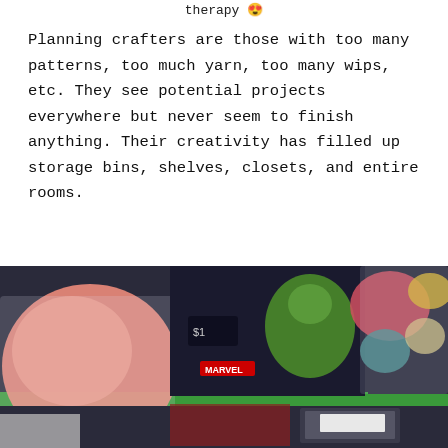therapy 😍
Planning crafters are those with too many patterns, too much yarn, too many wips, etc. They see potential projects everywhere but never seem to finish anything. Their creativity has filled up storage bins, shelves, closets, and entire rooms.
[Figure (photo): Photo of yarn and crafting supplies organized in plastic bags on shelving, with a Hulk Marvel box visible in the background. Various colored yarn balls in bags are stacked on green shelves.]